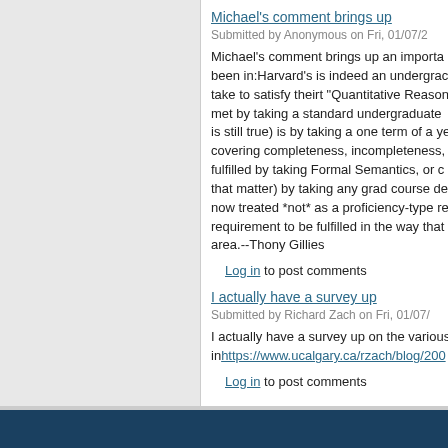Michael's comment brings up
Submitted by Anonymous on Fri, 01/07/2
Michael's comment brings up an importa been in:Harvard's is indeed an undergra take to satisfy theirt "Quantitative Reaso met by taking a standard undergraduate is still true) is by taking a one term of a y covering completeness, incompleteness, fulfilled by taking Formal Semantics, or o that matter) by taking any grad course de now treated *not* as a proficiency-type re requirement to be fulfilled in the way that area.--Thony Gillies
Log in to post comments
I actually have a survey up
Submitted by Richard Zach on Fri, 01/07/
I actually have a survey up on the variou in https://www.ucalgary.ca/rzach/blog/200
Log in to post comments